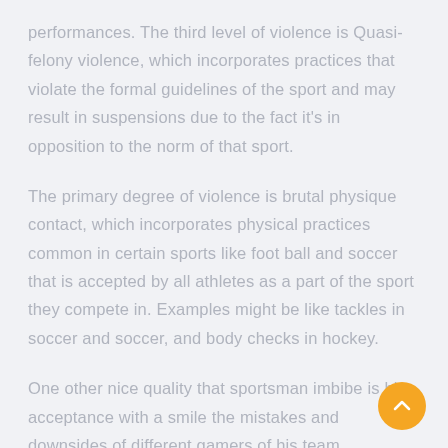performances. The third level of violence is Quasi-felony violence, which incorporates practices that violate the formal guidelines of the sport and may result in suspensions due to the fact it's in opposition to the norm of that sport.
The primary degree of violence is brutal physique contact, which incorporates physical practices common in certain sports like foot ball and soccer that is accepted by all athletes as a part of the sport they compete in. Examples might be like tackles in soccer and soccer, and body checks in hockey.
One other nice quality that sportsman imbibe is his acceptance with a smile the mistakes and downsides of different gamers of his team. Examples of this could be assaults throughout a game to be premeditated to severely harm one other participant like a hockey player